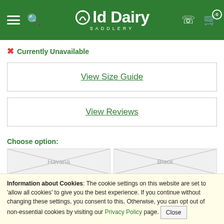Old Dairy Saddlery
Currently Unavailable
View Size Guide
View Reviews
Choose option:
Havana | Black
Choose option:
Information about Cookies: The cookie settings on this website are set to 'allow all cookies' to give you the best experience. If you continue without changing these settings, you consent to this. Otherwise, you can opt out of non-essential cookies by visiting our Privacy Policy page. Close